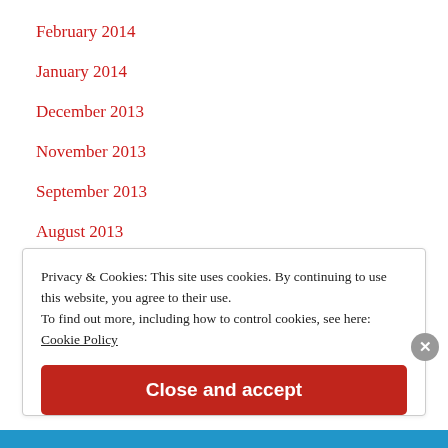February 2014
January 2014
December 2013
November 2013
September 2013
August 2013
Privacy & Cookies: This site uses cookies. By continuing to use this website, you agree to their use.
To find out more, including how to control cookies, see here:
Cookie Policy
Close and accept